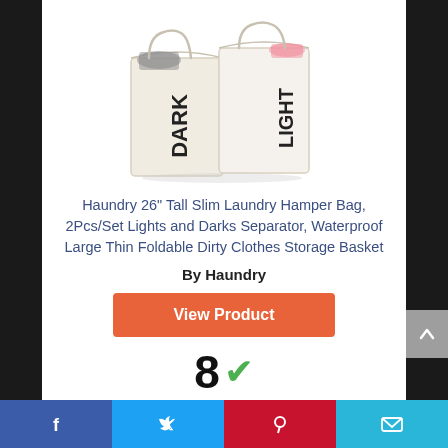[Figure (photo): Two laundry hamper bags labeled DARK and LIGHT, made of cream/white fabric with black text, with clothes visible inside.]
Haundry 26" Tall Slim Laundry Hamper Bag, 2Pcs/Set Lights and Darks Separator, Waterproof Large Thin Foldable Dirty Clothes Storage Basket
By Haundry
View Product
8 ✓
Score